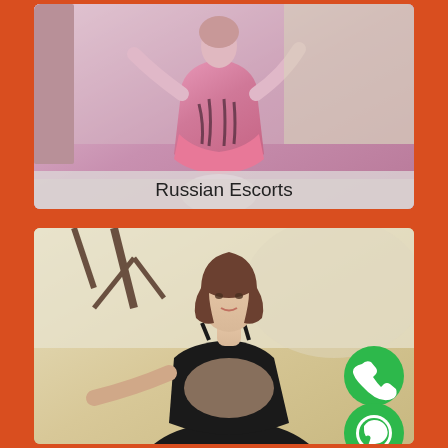[Figure (photo): Photo of a person wearing a pink outfit, upper body and lower body visible, posed against a light background. Text overlay reads 'Russian Escorts'.]
Russian Escorts
[Figure (photo): Photo of a young woman with short brown hair wearing a black top, posed outdoors with trees in the background. Green phone and WhatsApp icon buttons overlaid on the bottom right.]